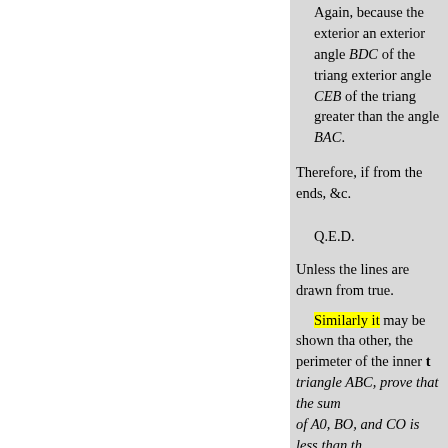Again, because the exterior angle BDC of the triangle exterior angle CEB of the triangle exterior angle greater than the angle BAC.
Therefore, if from the ends, &c.
Q.E.D.
Unless the lines are drawn from true.
Similarly it may be shown that other, the perimeter of the inner triangle ABC, prove that the sum of A0, BO, and CO is less than th
PROPOSITION 22. PROBLE
To malce a triangle of which of these must be greater than the
Let A, B, C be the three given which any two whatever are greater and B and C greater than A; it is